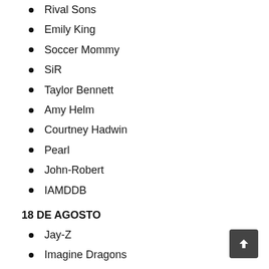Rival Sons
Emily King
Soccer Mommy
SiR
Taylor Bennett
Amy Helm
Courtney Hadwin
Pearl
John-Robert
IAMDDB
18 DE AGOSTO
Jay-Z
Imagine Dragons